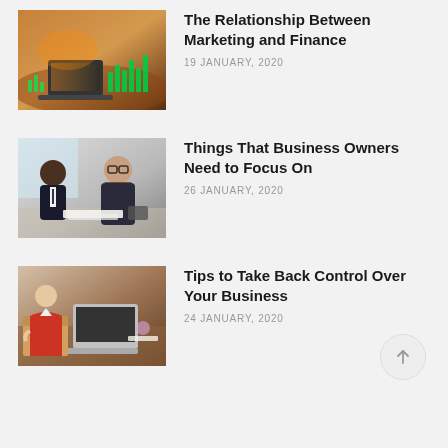[Figure (photo): Stock market data chart with laptop on desk, green candlestick bars overlay]
The Relationship Between Marketing and Finance
19 JANUARY, 2020
[Figure (photo): Two businessmen in suits sitting at a table having a meeting, reviewing documents]
Things That Business Owners Need to Focus On
26 JANUARY, 2020
[Figure (photo): Person at a desk with laptop, cardboard box, and business materials, woman in red jacket]
Tips to Take Back Control Over Your Business
24 JANUARY, 2020